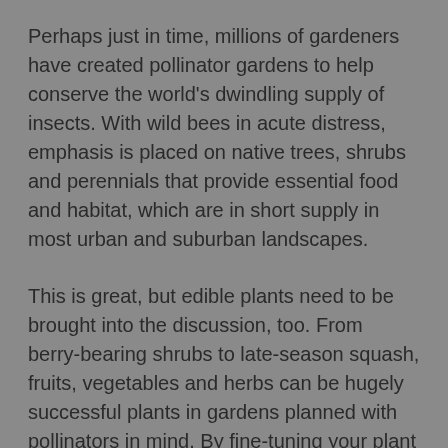Perhaps just in time, millions of gardeners have created pollinator gardens to help conserve the world's dwindling supply of insects. With wild bees in acute distress, emphasis is placed on native trees, shrubs and perennials that provide essential food and habitat, which are in short supply in most urban and suburban landscapes.
This is great, but edible plants need to be brought into the discussion, too. From berry-bearing shrubs to late-season squash, fruits, vegetables and herbs can be hugely successful plants in gardens planned with pollinators in mind. By fine-tuning your plant choices, you can grow good things to eat and please pollinators at the same time. Here are some of the best edibles for pollinator gardens.